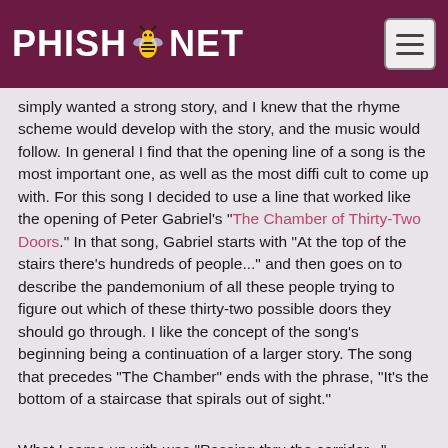PHISH.NET
simply wanted a strong story, and I knew that the rhyme scheme would develop with the story, and the music would follow. In general I find that the opening line of a song is the most important one, as well as the most difficult to come up with. For this song I decided to use a line that worked like the opening of Peter Gabriel's "The Chamber of Thirty-Two Doors." In that song, Gabriel starts with "At the top of the stairs there's hundreds of people..." and then goes on to describe the pandemonium of all these people trying to figure out which of these thirty-two possible doors they should go through. I like the concept of the song's beginning being a continuation of a larger story. The song that precedes "The Chamber" ends with the phrase, "It's the bottom of a staircase that spirals out of sight."
What I came up with was "Passing thru the corridor..." which I felt was a really descriptive phrase on its own. I decided to write in the first person, and I decided that I should choose a character from the poem and meet up with them in the corridor. I chose Rutherford the Brave, as he seemed to be the most colorful of the possible characters. I decided that Rutherford